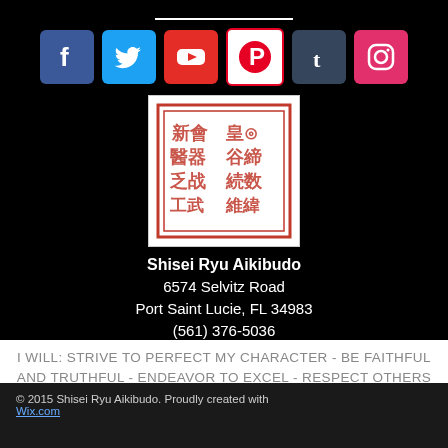[Figure (other): Social media icons row: Facebook, Twitter, YouTube, Pinterest, Tumblr, Instagram]
[Figure (other): Red Chinese/Japanese seal stamp on white background]
Shisei Ryu Aikibudo
6574 Selvitz Road
Port Saint Lucie, FL 34983
(561) 376-5036
lane.soke@gmail.com
I WILL: STRIVE TO PERFECT MY CHARACTER - BE FAITHFUL AND TRUTHFUL - ENDEAVOR TO EXCEL - RESPECT OTHERS AND MYSELF - SEEK HARMONY IN ALL THINGS - HAVE A BEGINNERS MIND
© 2015 Shisei Ryu Aikibudo. Proudly created with Wix.com